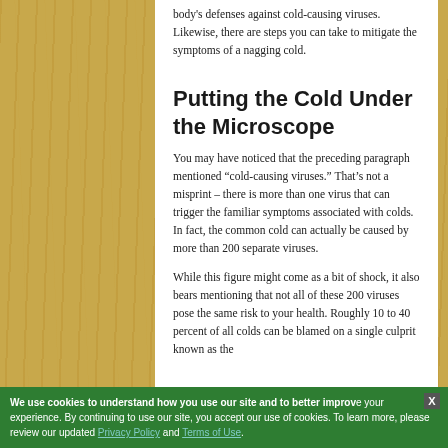body's defenses against cold-causing viruses. Likewise, there are steps you can take to mitigate the symptoms of a nagging cold.
Putting the Cold Under the Microscope
You may have noticed that the preceding paragraph mentioned “cold-causing viruses.” That’s not a misprint – there is more than one virus that can trigger the familiar symptoms associated with colds. In fact, the common cold can actually be caused by more than 200 separate viruses.
While this figure might come as a bit of shock, it also bears mentioning that not all of these 200 viruses pose the same risk to your health. Roughly 10 to 40 percent of all colds can be blamed on a single culprit known as the
We use cookies to understand how you use our site and to better improve your experience. By continuing to use our site, you accept our use of cookies. To learn more, please review our updated Privacy Policy and Terms of Use.